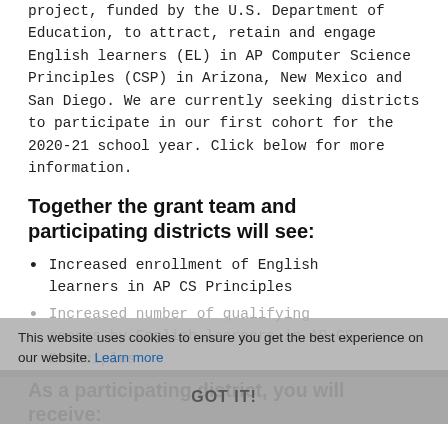project, funded by the U.S. Department of Education, to attract, retain and engage English learners (EL) in AP Computer Science Principles (CSP) in Arizona, New Mexico and San Diego. We are currently seeking districts to participate in our first cohort for the 2020-21 school year. Click below for more information.
Together the grant team and participating districts will see:
Increased enrollment of English learners in AP CS Principles
Increased number of qualifying scores by English learners in AP CS Principles
As a participating district, you will receive:
Expert led CS Course Placement Review to understand current access